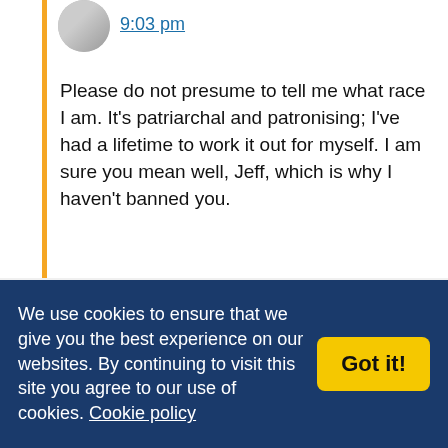9:03 pm
Please do not presume to tell me what race I am. It's patriarchal and patronising; I've had a lifetime to work it out for myself. I am sure you mean well, Jeff, which is why I haven't banned you.
Martin
12th January 2012,
We use cookies to ensure that we give you the best experience on our websites. By continuing to visit this site you agree to our use of cookies. Cookie policy